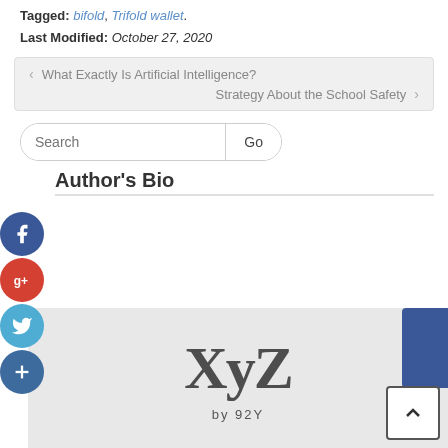Tagged: bifold, Trifold wallet.
Last Modified: October 27, 2020
‹ What Exactly Is Artificial Intelligence?
Strategy About the School Safety ›
[Figure (screenshot): Search bar with 'Search' placeholder text and 'Go' button]
[Figure (infographic): Social media share buttons: Facebook (blue), Google+ (red), Twitter (light blue), Plus (dark blue)]
Author's Bio
[Figure (photo): Photo showing XYZ by 92Y logo/text on a light background with a person's hair visible at bottom]